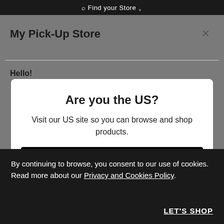Find your Store
My Pick-Up Store
Hello!
Are you the US?
Visit our US site so you can browse and shop products.
UNITED STATES
Stay on lushusa.com
By continuing to browse, you consent to our use of cookies. Read more about our Privacy and Cookies Policy.
LET'S SHOP